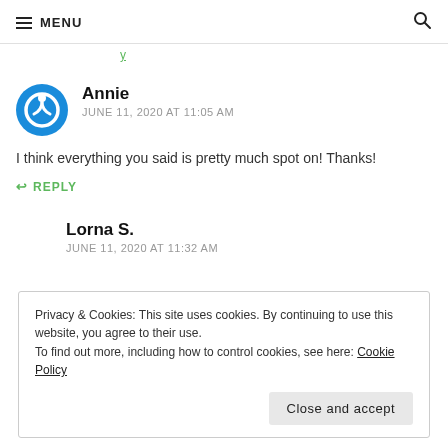MENU
Annie
JUNE 11, 2020 AT 11:05 AM
I think everything you said is pretty much spot on! Thanks!
REPLY
Lorna S.
JUNE 11, 2020 AT 11:32 AM
Privacy & Cookies: This site uses cookies. By continuing to use this website, you agree to their use. To find out more, including how to control cookies, see here: Cookie Policy
Close and accept